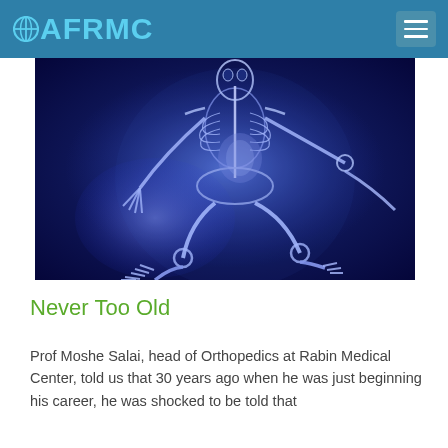AFORMC
[Figure (illustration): 3D X-ray style rendering of a running human skeleton with blue glow on dark blue background, showing bones and internal organs.]
Never Too Old
Prof Moshe Salai, head of Orthopedics at Rabin Medical Center, told us that 30 years ago when he was just beginning his career, he was shocked to be told that